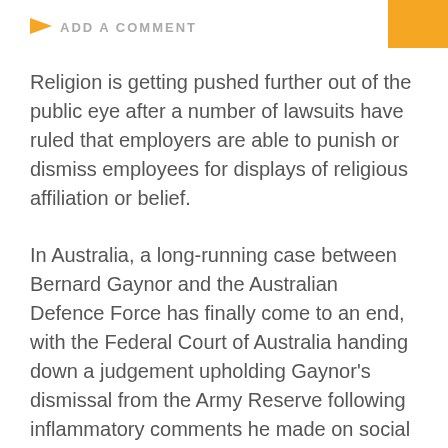ADD A COMMENT
Religion is getting pushed further out of the public eye after a number of lawsuits have ruled that employers are able to punish or dismiss employees for displays of religious affiliation or belief.
In Australia, a long-running case between Bernard Gaynor and the Australian Defence Force has finally come to an end, with the Federal Court of Australia handing down a judgement upholding Gaynor's dismissal from the Army Reserve following inflammatory comments he made on social media.